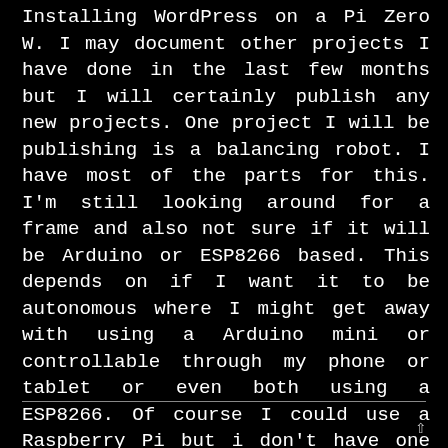Installing WordPress on a Pi Zero W. I may document other projects I have done in the last few months but I will certainly publish any new projects. One project I will be publishing is a balancing robot. I have most of the parts for this. I'm still looking around for a frame and also not sure if it will be Arduino or ESP8266 based. This depends on if I want it to be autonomous where I might get away with using a Arduino mini or controllable through my phone or tablet or even both using a ESP8266. Of course I could use a Raspberry Pi but i don't have one spare at the moment.
———————————————————————————————